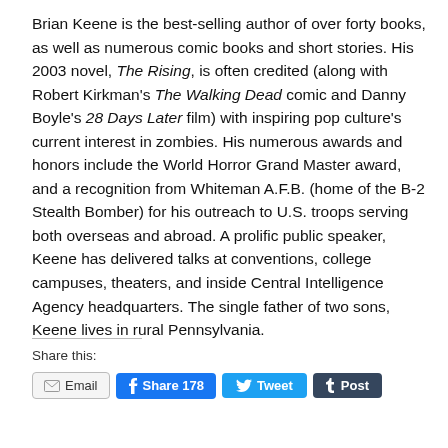Brian Keene is the best-selling author of over forty books, as well as numerous comic books and short stories. His 2003 novel, The Rising, is often credited (along with Robert Kirkman's The Walking Dead comic and Danny Boyle's 28 Days Later film) with inspiring pop culture's current interest in zombies. His numerous awards and honors include the World Horror Grand Master award, and a recognition from Whiteman A.F.B. (home of the B-2 Stealth Bomber) for his outreach to U.S. troops serving both overseas and abroad. A prolific public speaker, Keene has delivered talks at conventions, college campuses, theaters, and inside Central Intelligence Agency headquarters. The single father of two sons, Keene lives in rural Pennsylvania.
Share this:
Email   Share 178   Tweet   Post